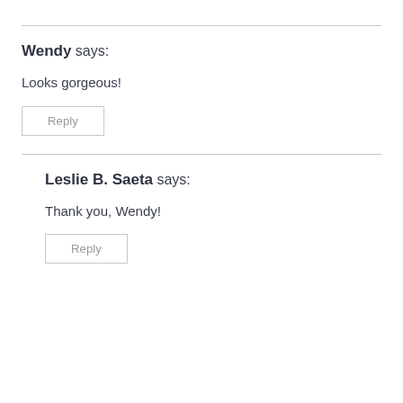Wendy says:
Looks gorgeous!
Reply
Leslie B. Saeta says:
Thank you, Wendy!
Reply